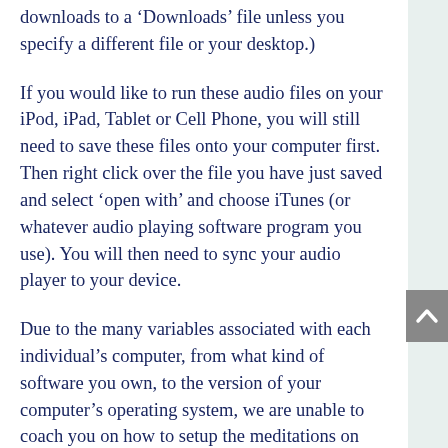downloads to a ‘Downloads’ file unless you specify a different file or your desktop.)
If you would like to run these audio files on your iPod, iPad, Tablet or Cell Phone, you will still need to save these files onto your computer first. Then right click over the file you have just saved and select ‘open with’ and choose iTunes (or whatever audio playing software program you use). You will then need to sync your audio player to your device.
Due to the many variables associated with each individual’s computer, from what kind of software you own, to the version of your computer’s operating system, we are unable to coach you on how to setup the meditations on your iPod, iPad, Tablet or Cell Phone.